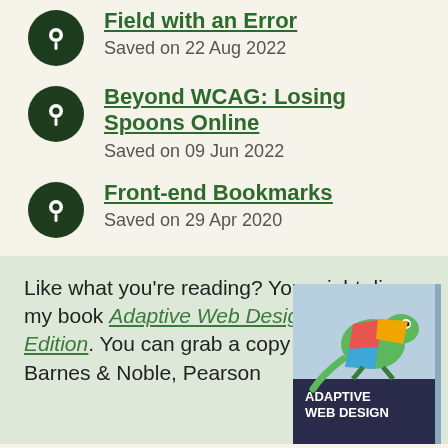Field with an Error — Saved on 22 Aug 2022
Beyond WCAG: Losing Spoons Online — Saved on 09 Jun 2022
Front-end Bookmarks — Saved on 29 Apr 2020
Like what you're reading? You might dig my book Adaptive Web Design, Second Edition. You can grab a copy on Amazon, Barnes & Noble, Pearson